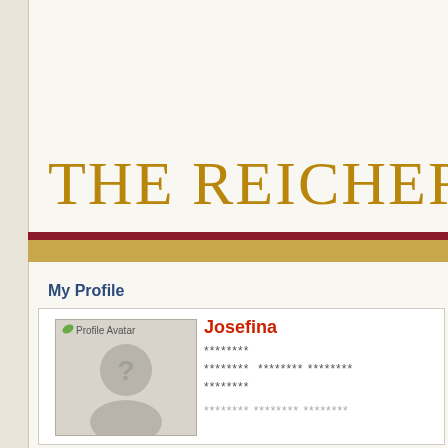THE REICHERT F
My Profile
[Figure (illustration): Profile avatar placeholder showing a silhouette of a person with a question mark, labeled 'Profile Avatar' with a small leaf icon]
Josefina
********
********, ******** ********
********
******** ******** ********